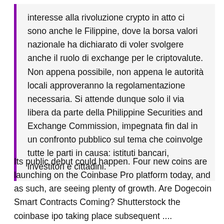interesse alla rivoluzione crypto in atto ci sono anche le Filippine, dove la borsa valori nazionale ha dichiarato di voler svolgere anche il ruolo di exchange per le criptovalute. Non appena possibile, non appena le autorità locali approveranno la regolamentazione necessaria. Si attende dunque solo il via libera da parte della Philippine Securities and Exchange Commission, impegnata fin dal in un confronto pubblico sul tema che coinvolge tutte le parti in causa: istituti bancari, investitori e cittadini.
Its public debut could happen. Four new coins are launching on the Coinbase Pro platform today, and as such, are seeing plenty of growth. Are Dogecoin Smart Contracts Coming? Shutterstock the coinbase ipo taking place subsequent ....